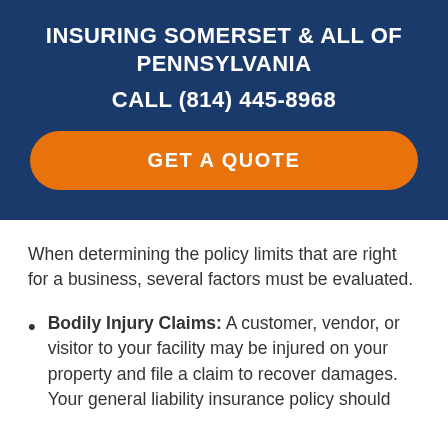INSURING SOMERSET & ALL OF PENNSYLVANIA
CALL (814) 445-8968
GET A QUOTE
When determining the policy limits that are right for a business, several factors must be evaluated.
Bodily Injury Claims: A customer, vendor, or visitor to your facility may be injured on your property and file a claim to recover damages. Your general liability insurance policy should